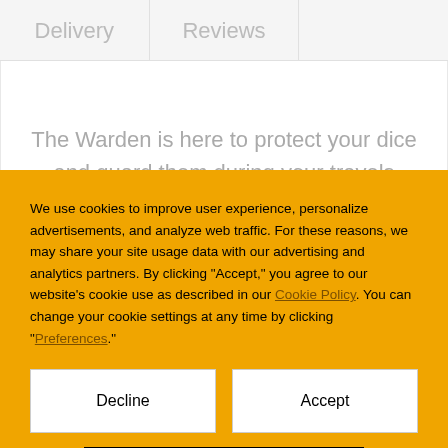| Delivery | Reviews |  |
| --- | --- | --- |
The Warden is here to protect your dice and guard them during your travels
We use cookies to improve user experience, personalize advertisements, and analyze web traffic. For these reasons, we may share your site usage data with our advertising and analytics partners. By clicking "Accept," you agree to our website's cookie use as described in our Cookie Policy. You can change your cookie settings at any time by clicking "Preferences."
Decline
Accept
Preferences